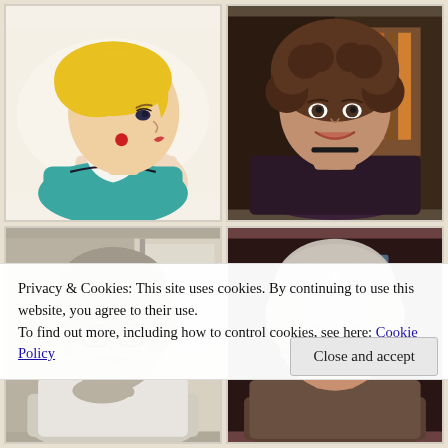[Figure (illustration): Cartoon illustration of a blonde woman in profile view, facing right, with yellow hair, teal/blue top, white collar, and a red earring, on a light beige background]
[Figure (photo): Color photograph of a smiling woman with curly brown hair, wearing a dark purple/navy sleeveless top and a layered necklace, in front of bookshelves]
[Figure (photo): Black and white photograph of an older woman with short gray hair and glasses, resting her chin on her hand, near a window]
[Figure (photo): Color photograph of an older woman with short silver hair and glasses, smiling, in a dark indoor setting]
Privacy & Cookies: This site uses cookies. By continuing to use this website, you agree to their use.
To find out more, including how to control cookies, see here: Cookie Policy
Close and accept